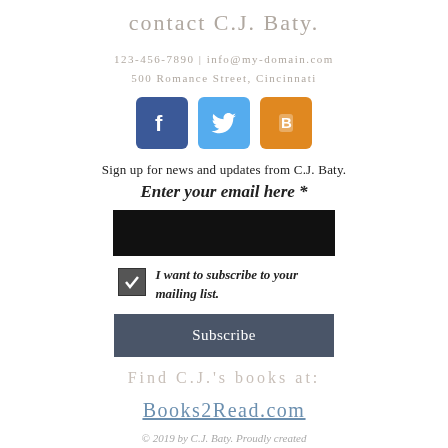contact C.J. Baty.
123-456-7890 | info@my-domain.com
500 Romance Street, Cincinnati
[Figure (other): Three social media icons: Facebook (blue), Twitter (light blue), Blogger (orange)]
Sign up for news and updates from C.J. Baty.
Enter your email here *
I want to subscribe to your mailing list.
Subscribe
Find C.J.'s books at:
Books2Read.com
© 2019 by C.J. Baty. Proudly created